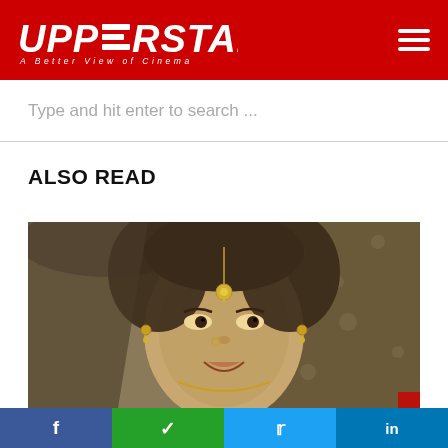UPPERSTALL – A Better View of Cinema
Type and hit enter to search ...
ALSO READ
[Figure (photo): Black and white portrait photograph of a woman in traditional Indian bridal attire with maang tikka and jewellery, smiling and looking upward]
Facebook | WhatsApp | Twitter | LinkedIn